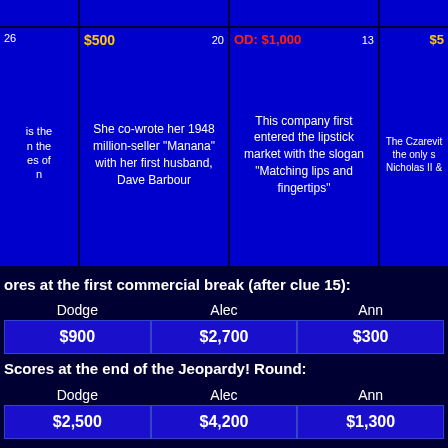[Figure (screenshot): Jeopardy game board showing clue cells with prices and clue text]
Scores at the first commercial break (after clue 15):
| Dodge | Alec | Ann |
| --- | --- | --- |
| $900 | $2,700 | $300 |
Scores at the end of the Jeopardy! Round:
| Dodge | Alec | Ann |
| --- | --- | --- |
| $2,500 | $4,200 | $1,300 |